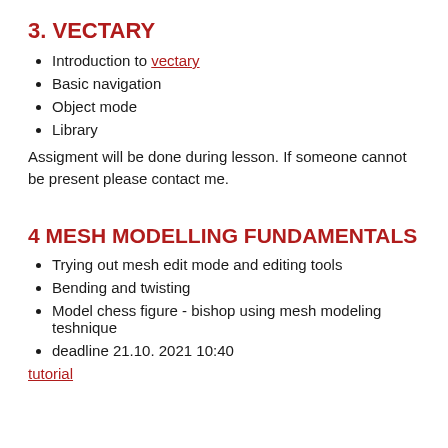3. VECTARY
Introduction to vectary
Basic navigation
Object mode
Library
Assigment will be done during lesson. If someone cannot be present please contact me.
4 MESH MODELLING FUNDAMENTALS
Trying out mesh edit mode and editing tools
Bending and twisting
Model chess figure - bishop using mesh modeling teshnique
deadline 21.10. 2021 10:40
tutorial